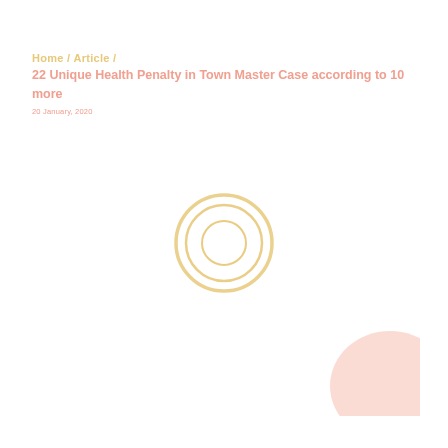Home / Article /
22 Unique Health Penalty in Town Master Case according to 10 more
20 January, 2020
[Figure (other): Loading spinner - two concentric circles in golden/yellow color, centered on page]
[Figure (other): Partial circle/oval shape in pink/salmon color, bottom-right corner]